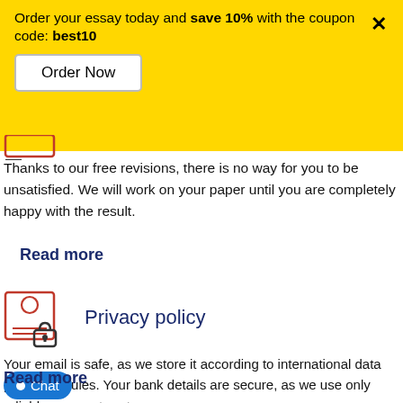Order your essay today and save 10% with the coupon code: best10
Thanks to our free revisions, there is no way for you to be unsatisfied. We will work on your paper until you are completely happy with the result.
Read more
[Figure (illustration): Privacy policy icon: a document with a person symbol and a padlock]
Privacy policy
Your email is safe, as we store it according to international data protection rules. Your bank details are secure, as we use only reliable payment systems.
Read more